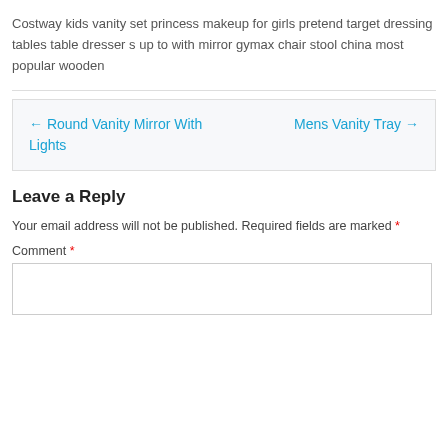Costway kids vanity set princess makeup for girls pretend target dressing tables table dresser s up to with mirror gymax chair stool china most popular wooden
← Round Vanity Mirror With Lights    Mens Vanity Tray →
Leave a Reply
Your email address will not be published. Required fields are marked *
Comment *